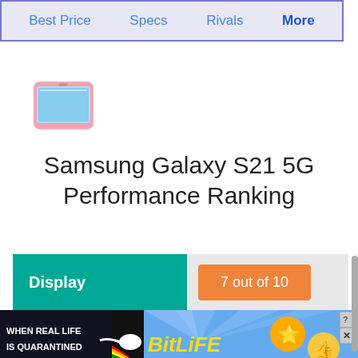Best Price | Specs | Rivals | More
[Figure (photo): Pink Samsung Galaxy smartphone product image]
Samsung Galaxy S21 5G Performance Ranking
| Category | Score |
| --- | --- |
| Display | 7 out of 10 |
| Camera | 7 out of 10 |
[Figure (infographic): BitLife advertisement banner with rainbow and cartoon characters. Text reads: WHEN REAL LIFE IS QUARANTINED - BitLife]